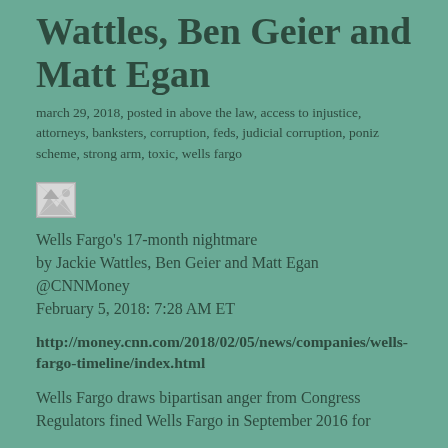Wattles, Ben Geier and Matt Egan
march 29, 2018, posted in above the law, access to injustice, attorneys, banksters, corruption, feds, judicial corruption, poniz scheme, strong arm, toxic, wells fargo
[Figure (photo): Broken image placeholder icon]
Wells Fargo's 17-month nightmare
by Jackie Wattles, Ben Geier and Matt Egan
@CNNMoney
February 5, 2018: 7:28 AM ET
http://money.cnn.com/2018/02/05/news/companies/wells-fargo-timeline/index.html
Wells Fargo draws bipartisan anger from Congress
Regulators fined Wells Fargo in September 2016 for